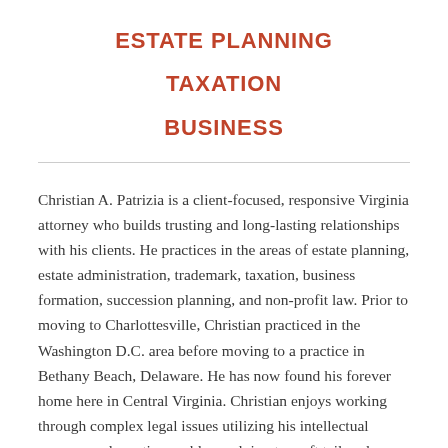ESTATE PLANNING
TAXATION
BUSINESS
Christian A. Patrizia is a client-focused, responsive Virginia attorney who builds trusting and long-lasting relationships with his clients. He practices in the areas of estate planning, estate administration, trademark, taxation, business formation, succession planning, and non-profit law. Prior to moving to Charlottesville, Christian practiced in the Washington D.C. area before moving to a practice in Bethany Beach, Delaware. He has now found his forever home here in Central Virginia. Christian enjoys working through complex legal issues utilizing his intellectual acumen and creative problem solving to craft tailored solutions to